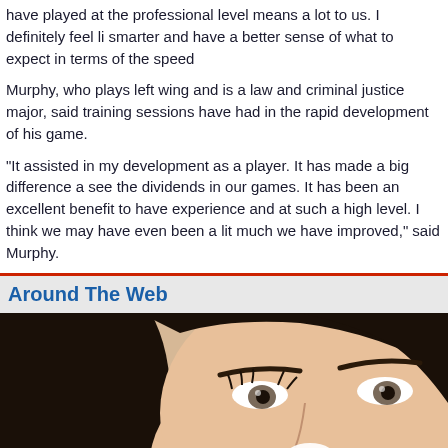have played at the professional level means a lot to us. I definitely feel li smarter and have a better sense of what to expect in terms of the speed
Murphy, who plays left wing and is a law and criminal justice major, said training sessions have had in the rapid development of his game.
"It assisted in my development as a player. It has made a big difference a see the dividends in our games. It has been an excellent benefit to have experience and at such a high level. I think we may have even been a lit much we have improved," said Murphy.
Around The Web
[Figure (photo): Close-up photo of a young woman with dark hair and brown eyes, applying or touching something white near her nose, against a beige/tan background.]